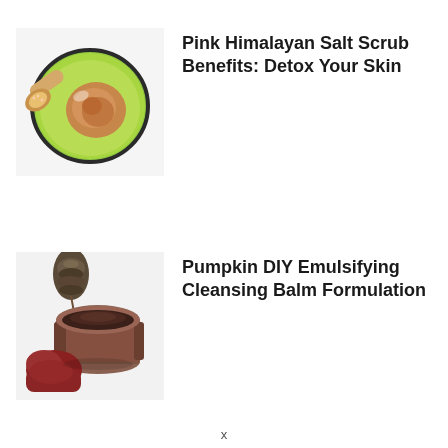[Figure (photo): Overhead photo of a green bowl with pink Himalayan salt scrub mixture and a wooden scoop with salt on a white background]
Pink Himalayan Salt Scrub Benefits: Detox Your Skin
[Figure (photo): Photo of a round glass jar with dark brown cleansing balm held by a red oven mitt, with a pine cone in the background on a white surface]
Pumpkin DIY Emulsifying Cleansing Balm Formulation
x